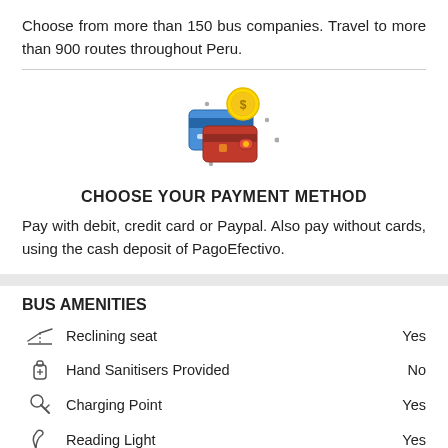Choose from more than 150 bus companies. Travel to more than 900 routes throughout Peru.
[Figure (illustration): Payment method icon: blue credit card, red wallet, and gold coin with dollar sign]
CHOOSE YOUR PAYMENT METHOD
Pay with debit, credit card or Paypal. Also pay without cards, using the cash deposit of PagoEfectivo.
BUS AMENITIES
Reclining seat — Yes
Hand Sanitisers Provided — No
Charging Point — Yes
Reading Light — Yes